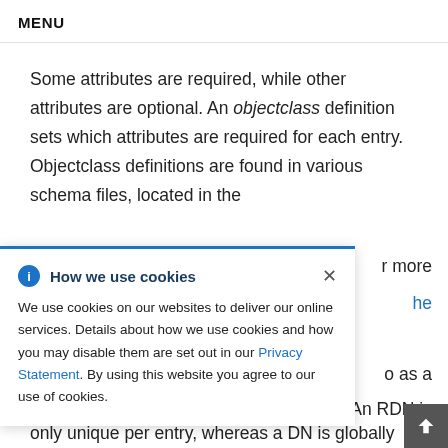MENU
Some attributes are required, while other attributes are optional. An objectclass definition sets which attributes are required for each entry. Objectclass definitions are found in various schema files, located in the
r more
he
How we use cookies

We use cookies on our websites to deliver our online services. Details about how we use cookies and how you may disable them are set out in our Privacy Statement. By using this website you agree to our use of cookies.
o as a
An RDN is
only unique per entry, whereas a DN is globally